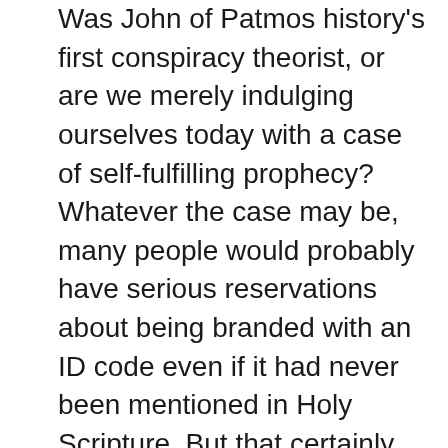Was John of Patmos history's first conspiracy theorist, or are we merely indulging ourselves today with a case of self-fulfilling prophecy? Whatever the case may be, many people would probably have serious reservations about being branded with an ID code even if it had never been mentioned in Holy Scripture. But that certainly has not stopped Microsoft founder Bill Gates, who has been warning about a global pandemic for years, from pushing such controversial technologies on all of us.

In September 2019, just three months before the coronavirus first appeared in China, ID2020, a San Francisco-based biometric company that counts Microsoft as one of its founding members, quietly announced it was undertaking a new project that involves the "exploration of multiple biometric